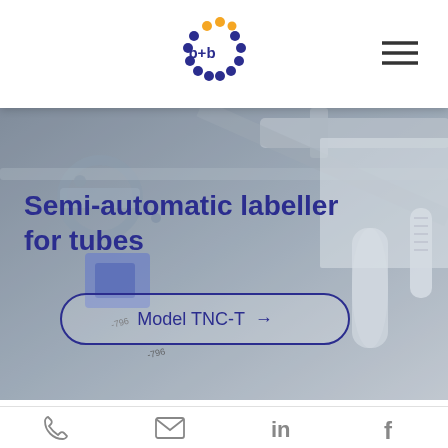b+b automation logo and navigation menu
[Figure (photo): Semi-automatic labeller machine for tubes (Model TNC-T) — industrial machinery with mechanical components, tubes, and labeling apparatus shown in grayscale/muted tones with overlaid text and a button]
Semi-automatic labeller for tubes
Model TNC-T →
b+b automation > Machines > Labeling machines > Model series TNC-T
Contact icons: phone, email, LinkedIn, Facebook